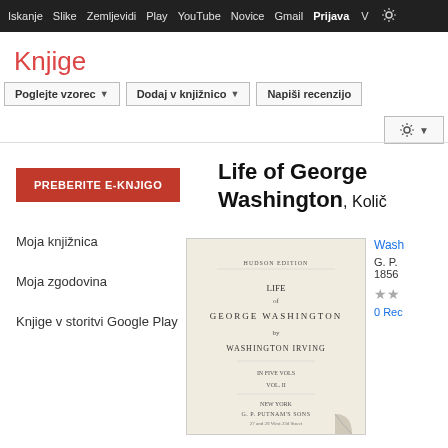Iskanje Slike Zemljevidi Play YouTube Novice Gmail Prijava
Knjige
Poglejte vzorec | Dodaj v knjižnico | Napiši recenzijo
PREBERITE E-KNJIGO
Life of George Washington, Količ
Moja knjižnica
Moja zgodovina
Knjige v storitvi Google Play
[Figure (illustration): Book cover of Life of George Washington, showing title page with text: HUDSON EDITION, LIFE of GEORGE WASHINGTON by WASHINGTON IRVING, G. P. PUTNAM'S SONS, New York, with a page-curl effect at the bottom right corner.]
Wash
G. P. 1856
★★
0 Rec